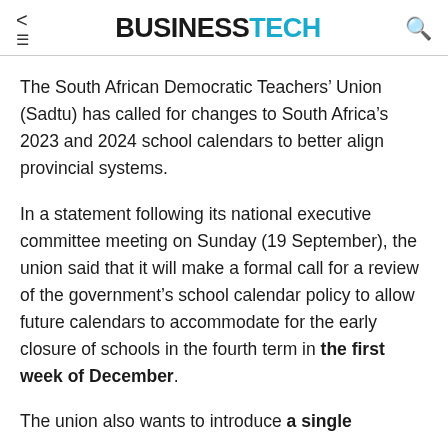BUSINESSTECH
The South African Democratic Teachers’ Union (Sadtu) has called for changes to South Africa’s 2023 and 2024 school calendars to better align provincial systems.
In a statement following its national executive committee meeting on Sunday (19 September), the union said that it will make a formal call for a review of the government’s school calendar policy to allow future calendars to accommodate for the early closure of schools in the fourth term in the first week of December.
The union also wants to introduce a single